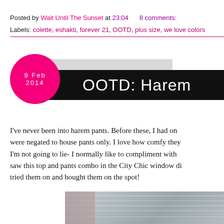Posted by Wait Until The Sunset at 23:04   8 comments:
Labels: colette, eshakti, forever 21, OOTD, plus size, we love colors
OOTD: Harem
9 Feb 2014
I've never been into harem pants. Before these, I had on... were negated to house pants only. I love how comfy they... I'm not going to lie- I normally like to compliment with... saw this top and pants combo in the City Chic window dis... tried them on and bought them on the spot!
[Figure (photo): Photo of person outdoors near corrugated wall, partially visible at bottom of page]